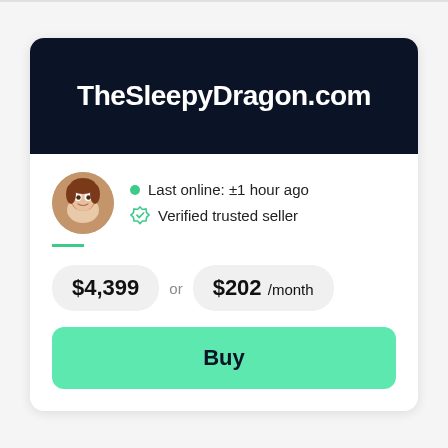TheSleepyDragon.com
Last online: ±1 hour ago
Verified trusted seller
$4,399 or $202 /month
Buy